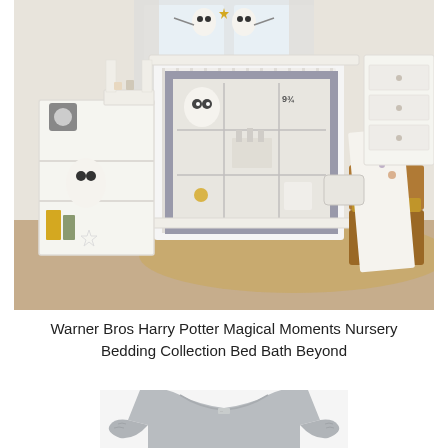[Figure (photo): Harry Potter Magical Moments nursery bedding collection displayed in a styled nursery room with a white crib, patchwork quilt featuring Hogwarts castle, Platform 9¾, Hedwig owl, and Quidditch motifs. Beside the crib sits a white cubby shelf with an owl plush, small items, and a star decoration. On the right side are stacked wooden trunks with a white throw blanket draped over them featuring Harry Potter icons. White dresser and changing table are visible in the background.]
Warner Bros Harry Potter Magical Moments Nursery Bedding Collection Bed Bath Beyond
[Figure (photo): A gray heathered ruffle-sleeve t-shirt or top, partially visible at the bottom of the page.]